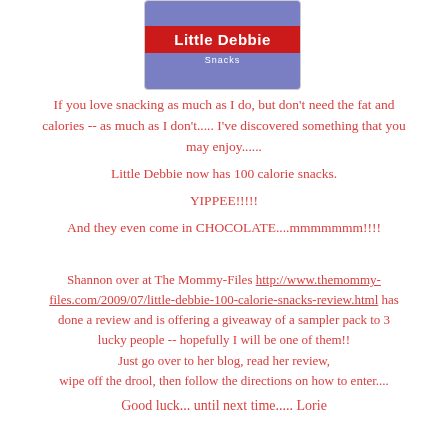[Figure (logo): Little Debbie Snacks logo on blue/purple background with red banner]
If you love snacking as much as I do, but don't need the fat and calories -- as much as I don't..... I've discovered something that you may enjoy...... Little Debbie now has 100 calorie snacks. YIPPEE!!!!! And they even come in CHOCOLATE....mmmmmmm!!!!
Shannon over at The Mommy-Files http://www.themommy-files.com/2009/07/little-debbie-100-calorie-snacks-review.html has done a review and is offering a giveaway of a sampler pack to 3 lucky people -- hopefully I will be one of them!! Just go over to her blog, read her review, wipe off the drool, then follow the directions on how to enter....
Good luck... until next time..... Lorie